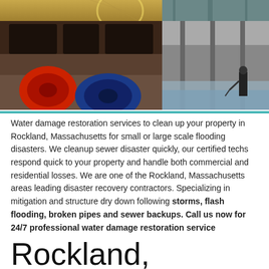[Figure (photo): Two-row photo grid showing water damage restoration scenes: top partial row with flooring/overhead shots, bottom row showing a kitchen with industrial fans (red and blue) on wet floor left, and a flooded space with a worker spraying right]
Water damage restoration services to clean up your property in Rockland, Massachusetts for small or large scale flooding disasters. We cleanup sewer disaster quickly, our certified techs respond quick to your property and handle both commercial and residential losses. We are one of the Rockland, Massachusetts areas leading disaster recovery contractors. Specializing in mitigation and structure dry down following storms, flash flooding, broken pipes and sewer backups. Call us now for 24/7 professional water damage restoration service
Rockland,